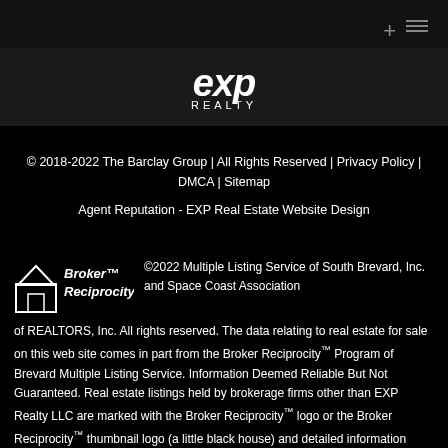[Figure (logo): eXp Realty logo in white on dark background]
© 2018-2022 The Barclay Group | All Rights Reserved | Privacy Policy | DMCA | Sitemap
Agent Reputation - EXP Real Estate Website Design
[Figure (logo): Broker Reciprocity logo with house icon]
©2022 Multiple Listing Service of South Brevard, Inc. and Space Coast Association of REALTORS, Inc. All rights reserved. The data relating to real estate for sale on this web site comes in part from the Broker Reciprocity™ Program of Brevard Multiple Listing Service. Information Deemed Reliable But Not Guaranteed. Real estate listings held by brokerage firms other than EXP Realty LLC are marked with the Broker Reciprocity™ logo or the Broker Reciprocity™ thumbnail logo (a little black house) and detailed information about them includes the name of the listing brokers. The listing broker's offer of compensation is made only to participants of the MLS where the listing is filed. Some properties